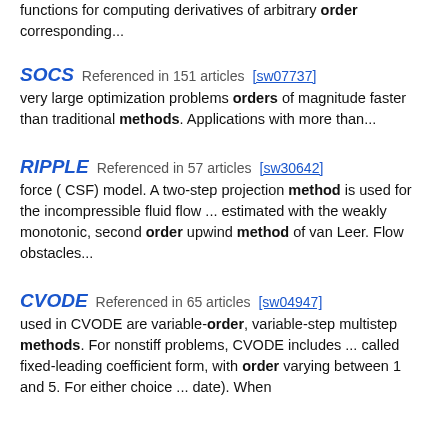functions for computing derivatives of arbitrary order corresponding...
SOCS  Referenced in 151 articles [sw07737]
very large optimization problems orders of magnitude faster than traditional methods. Applications with more than...
RIPPLE  Referenced in 57 articles [sw30642]
force ( CSF) model. A two-step projection method is used for the incompressible fluid flow ... estimated with the weakly monotonic, second order upwind method of van Leer. Flow obstacles...
CVODE  Referenced in 65 articles [sw04947]
used in CVODE are variable-order, variable-step multistep methods. For nonstiff problems, CVODE includes ... called fixed-leading coefficient form, with order varying between 1 and 5. For either choice ... date). When